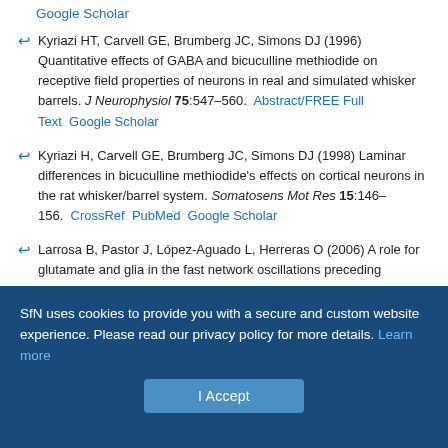Google Scholar
Kyriazi HT, Carvell GE, Brumberg JC, Simons DJ (1996) Quantitative effects of GABA and bicuculline methiodide on receptive field properties of neurons in real and simulated whisker barrels. J Neurophysiol 75:547–560. Abstract/FREE Full Text  Google Scholar
Kyriazi H, Carvell GE, Brumberg JC, Simons DJ (1998) Laminar differences in bicuculline methiodide's effects on cortical neurons in the rat whisker/barrel system. Somatosens Mot Res 15:146–156. CrossRef PubMed Google Scholar
Larrosa B, Pastor J, López-Aguado L, Herreras O (2006) A role for glutamate and glia in the fast network oscillations preceding spreading depression. Neuroscience 141:1057–1068. CrossRef PubMed Google Scholar
SfN uses cookies to provide you with a secure and custom website experience. Please read our privacy policy for more details. Learn more